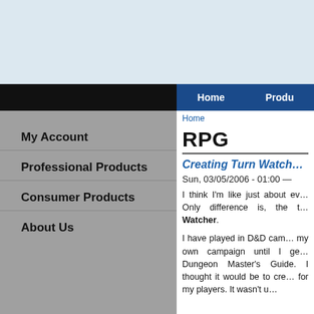Home | Produ
Home
My Account
Professional Products
Consumer Products
About Us
RPG
Creating Turn Watch…
Sun, 03/05/2006 - 01:00 —
I think I'm like just about ev… Only difference is, the t… Watcher.
I have played in D&D cam… my own campaign until I ge… Dungeon Master's Guide. I thought it would be to cre… for my players. It wasn't u… t b…